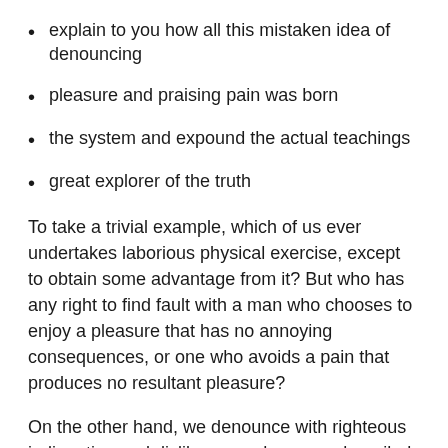explain to you how all this mistaken idea of denouncing
pleasure and praising pain was born
the system and expound the actual teachings
great explorer of the truth
To take a trivial example, which of us ever undertakes laborious physical exercise, except to obtain some advantage from it? But who has any right to find fault with a man who chooses to enjoy a pleasure that has no annoying consequences, or one who avoids a pain that produces no resultant pleasure?
On the other hand, we denounce with righteous indignation and dislike men who are so beguiled and demoralized by the charms of pleasure of the moment, so blinded by desire, that they cannot foresee